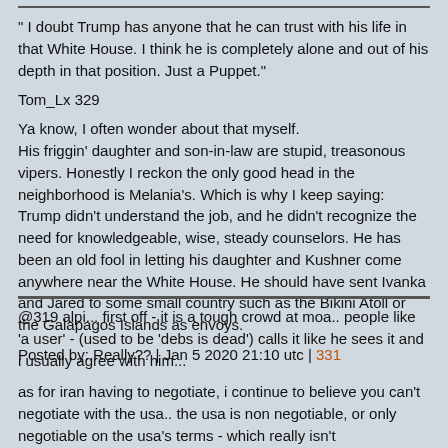" I doubt Trump has anyone that he can trust with his life in that White House. I think he is completely alone and out of his depth in that position. Just a Puppet."
Tom_Lx 329
Ya know, I often wonder about that myself.
His friggin' daughter and son-in-law are stupid, treasonous vipers. Honestly I reckon the only good head in the neighborhood is Melania's. Which is why I keep saying: Trump didn't understand the job, and he didn't recognize the need for knowledgeable, wise, steady counselors. He has been an old fool in letting his daughter and Kushner come anywhere near the White House. He should have sent Ivanka and Jared to some small country such as the Bikini Atoll or the Galapagos Islands as envoys.
Posted by: Really?? | Jan 5 2020 21:10 utc | 331
@319 alpi... first off - it is a tough crowd at moa.. people like 'a user' - (used to be 'debs is dead') calls it like he sees it and i usually agree with him...
as for iran having to negotiate, i continue to believe you can't negotiate with the usa.. the usa is non negotiable, or only negotiable on the usa's terms - which really isn't